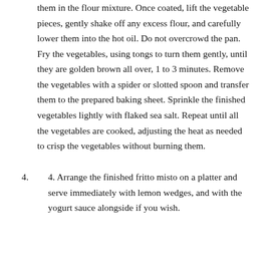them in the flour mixture. Once coated, lift the vegetable pieces, gently shake off any excess flour, and carefully lower them into the hot oil. Do not overcrowd the pan. Fry the vegetables, using tongs to turn them gently, until they are golden brown all over, 1 to 3 minutes. Remove the vegetables with a spider or slotted spoon and transfer them to the prepared baking sheet. Sprinkle the finished vegetables lightly with flaked sea salt. Repeat until all the vegetables are cooked, adjusting the heat as needed to crisp the vegetables without burning them.
4. Arrange the finished fritto misto on a platter and serve immediately with lemon wedges, and with the yogurt sauce alongside if you wish.